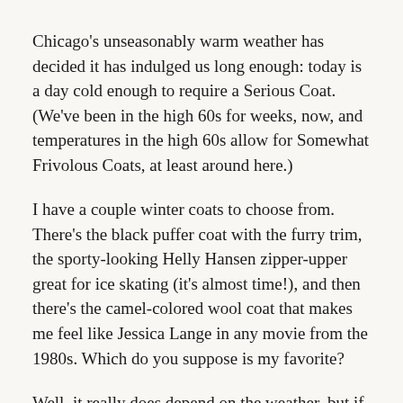Chicago's unseasonably warm weather has decided it has indulged us long enough: today is a day cold enough to require a Serious Coat. (We've been in the high 60s for weeks, now, and temperatures in the high 60s allow for Somewhat Frivolous Coats, at least around here.)
I have a couple winter coats to choose from. There's the black puffer coat with the furry trim, the sporty-looking Helly Hansen zipper-upper great for ice skating (it's almost time!), and then there's the camel-colored wool coat that makes me feel like Jessica Lange in any movie from the 1980s. Which do you suppose is my favorite?
Well, it really does depend on the weather, but if I had to go live on a desert island where winter